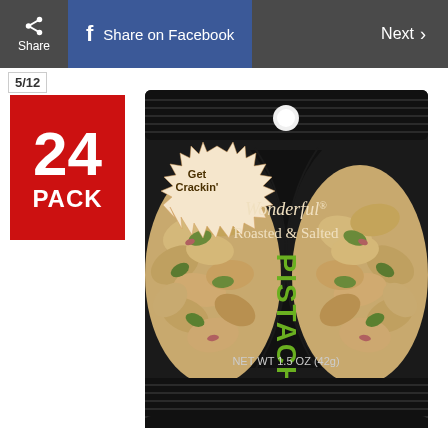Share | Share on Facebook | Next >
5/12
24 PACK
[Figure (photo): Wonderful Roasted & Salted Pistachios snack bag, NET WT 1.5 OZ (42g), with 'Get Crackin'' badge, black packaging with pistachios visible on front, vertical text reading PISTACHIOS in green]